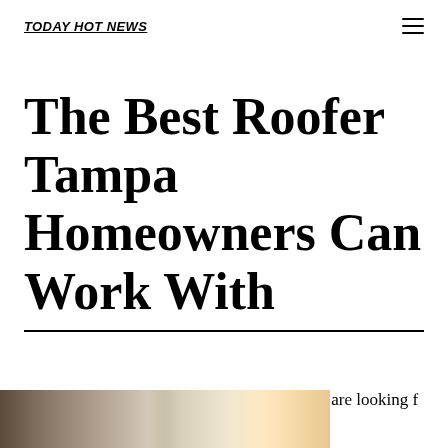TODAY HOT NEWS
The Best Roofer Tampa Homeowners Can Work With
If you are looking f